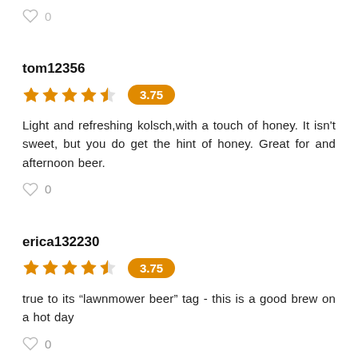♡ 0
tom12356
[Figure (other): 4.5 star rating with orange badge showing 3.75]
Light and refreshing kolsch,with a touch of honey. It isn't sweet, but you do get the hint of honey. Great for and afternoon beer.
♡ 0
erica132230
[Figure (other): 4.5 star rating with orange badge showing 3.75]
true to its “lawnmower beer” tag - this is a good brew on a hot day
♡ 0